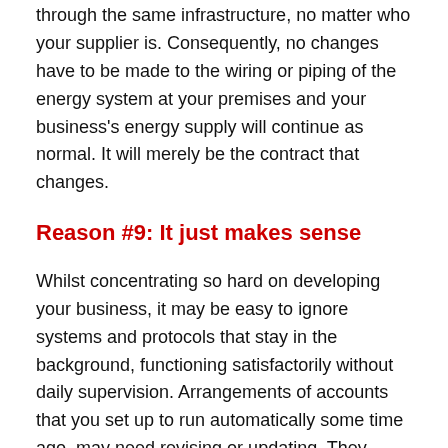through the same infrastructure, no matter who your supplier is. Consequently, no changes have to be made to the wiring or piping of the energy system at your premises and your business's energy supply will continue as normal. It will merely be the contract that changes.
Reason #9: It just makes sense
Whilst concentrating so hard on developing your business, it may be easy to ignore systems and protocols that stay in the background, functioning satisfactorily without daily supervision. Arrangements of accounts that you set up to run automatically some time ago, may need revising or updating. They could now be costing more than they need to be. Maybe an energy audit or review of possible areas of saving would be a worthwhile time investment. Why not start by looking at your overall energy costs?